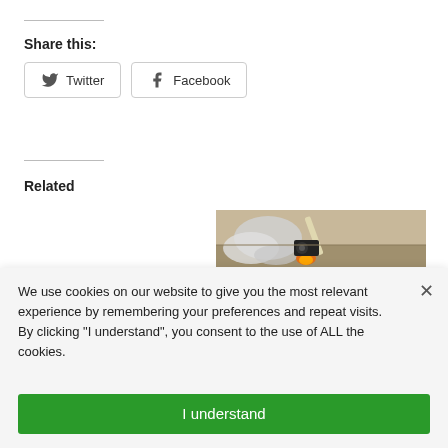Share this:
Twitter  Facebook
Related
[Figure (photo): A missile being launched from a launch pad in a desert landscape, with white smoke and flames visible at the base.]
We use cookies on our website to give you the most relevant experience by remembering your preferences and repeat visits. By clicking “I understand”, you consent to the use of ALL the cookies.
I understand